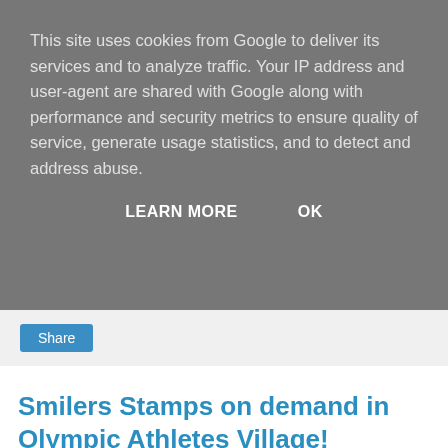This site uses cookies from Google to deliver its services and to analyze traffic. Your IP address and user-agent are shared with Google along with performance and security metrics to ensure quality of service, generate usage statistics, and to detect and address abuse.
LEARN MORE   OK
Share
Smilers Stamps on demand in Olympic Athletes Village!
Copied from Graham Howard's Smilers-Info website:
Smilers Booth at Olympic Village Post Office
Yink Ltd have tweeted us to advise that they will be manning a Smilers Booth in the Olympic Village Post Office. Unfortunately, access is